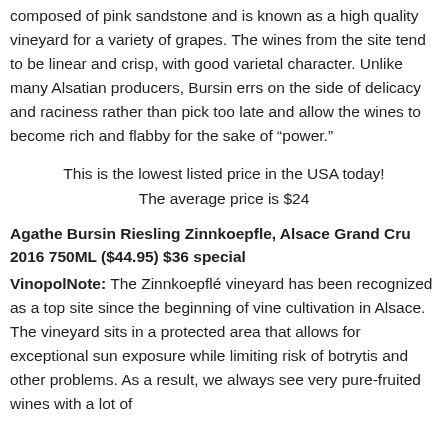composed of pink sandstone and is known as a high quality vineyard for a variety of grapes. The wines from the site tend to be linear and crisp, with good varietal character. Unlike many Alsatian producers, Bursin errs on the side of delicacy and raciness rather than pick too late and allow the wines to become rich and flabby for the sake of “power.”
This is the lowest listed price in the USA today! The average price is $24
Agathe Bursin Riesling Zinnkoepfle, Alsace Grand Cru 2016 750ML ($44.95) $36 special VinopolNote: The Zinnkoepflé vineyard has been recognized as a top site since the beginning of vine cultivation in Alsace. The vineyard sits in a protected area that allows for exceptional sun exposure while limiting risk of botrytis and other problems. As a result, we always see very pure-fruited wines with a lot of